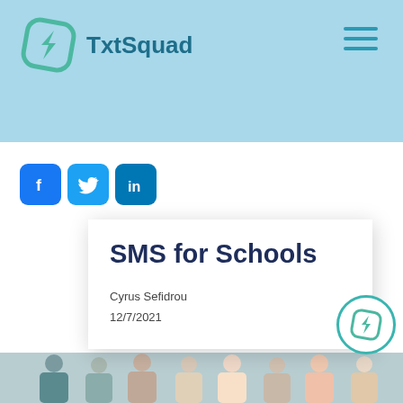TxtSquad
[Figure (logo): TxtSquad logo: teal/green diamond shape with arrow icon, and text 'TxtSquad' in teal]
[Figure (infographic): Social media share icons: Facebook (f), Twitter (bird), LinkedIn (in)]
SMS for Schools
Cyrus Sefidrou
12/7/2021
[Figure (photo): Group of young people/students at the bottom of the page]